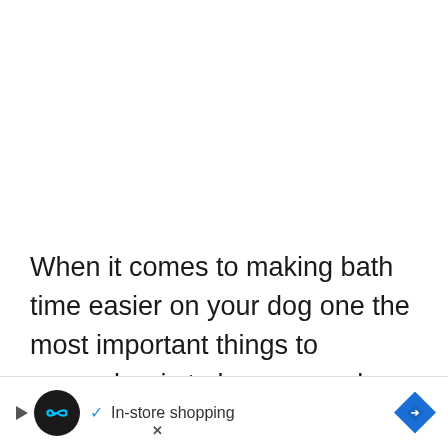When it comes to making bath time easier on your dog one the most important things to remember is to be prepared. That includes having your shampoo, towels, a cup for rinsing and any toys or treats you might use ready to go bef
[Figure (other): Advertisement bar at bottom of page showing a circular black icon with infinity-loop symbol, a play button triangle, a blue checkmark with 'In-store shopping' text, a close X button, and a blue diamond-shaped arrow icon on the right.]